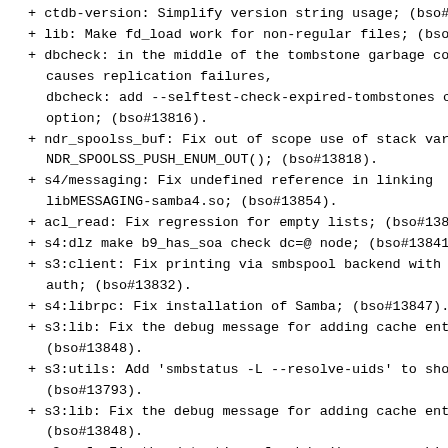+ ctdb-version: Simplify version string usage; (bso#
+ lib: Make fd_load work for non-regular files; (bso#
+ dbcheck: in the middle of the tombstone garbage co
causes replication failures,
dbcheck: add --selftest-check-expired-tombstones cr
option; (bso#13816).
+ ndr_spoolss_buf: Fix out of scope use of stack var
NDR_SPOOLSS_PUSH_ENUM_OUT(); (bso#13818).
+ s4/messaging: Fix undefined reference in linking
libMESSAGING-samba4.so; (bso#13854).
+ acl_read: Fix regression for empty lists; (bso#1383
+ s4:dlz make b9_has_soa check dc=@ node; (bso#13841
+ s3:client: Fix printing via smbspool backend with k
auth; (bso#13832).
+ s4:librpc: Fix installation of Samba; (bso#13847).
+ s3:lib: Fix the debug message for adding cache entr
(bso#13848).
+ s3:utils: Add 'smbstatus -L --resolve-uids' to show
(bso#13793).
+ s3:lib: Fix the debug message for adding cache entr
(bso#13848).
+ s3:waf: Fix the detection of makdev() macro on Linu
(bso#13853).
* ctdb-build: Drop creation of .distversion in tarba
(bso#13789).
* ctdb-packaging: Test package requires tcpdump, ctdb
should not own system library directory; (bso#1383
- Update to samba-4.10.1:
+ py/kcc_utils: py2.6 compatibility; (bso#13837);
+ libcli: permit larger values of DataLength in